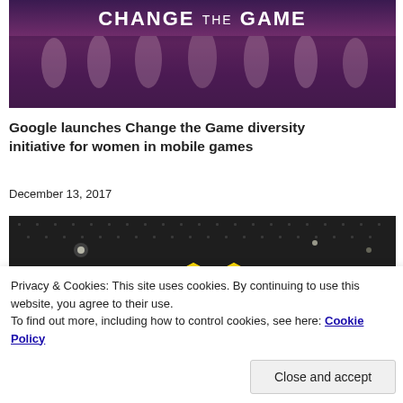[Figure (photo): Partial photo showing people standing with 'CHANGE THE GAME' text overlay on a purple/dark background]
Google launches Change the Game diversity initiative for women in mobile games
December 13, 2017
[Figure (photo): Dark photo of a venue ceiling with lights and a yellow cube logo (Google Play) in the center]
Privacy & Cookies: This site uses cookies. By continuing to use this website, you agree to their use.
To find out more, including how to control cookies, see here: Cookie Policy
Close and accept